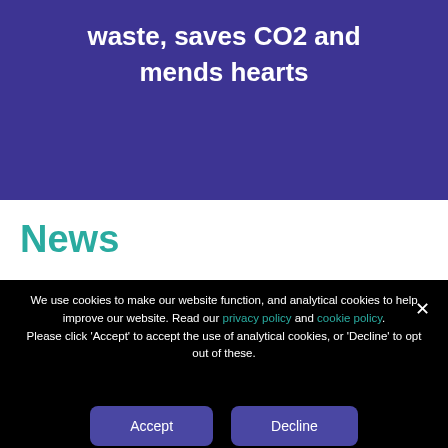waste, saves CO2 and mends hearts
News
We use cookies to make our website function, and analytical cookies to help improve our website. Read our privacy policy and cookie policy.
Please click 'Accept' to accept the use of analytical cookies, or 'Decline' to opt out of these.